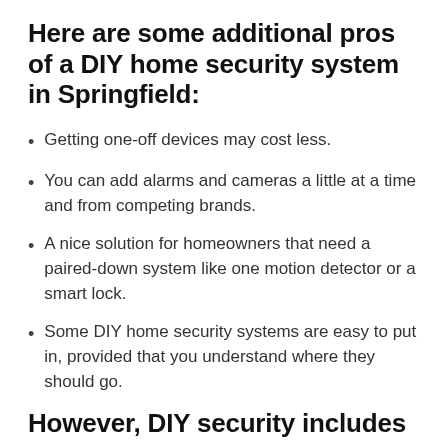Here are some additional pros of a DIY home security system in Springfield:
Getting one-off devices may cost less.
You can add alarms and cameras a little at a time and from competing brands.
A nice solution for homeowners that need a paired-down system like one motion detector or a smart lock.
Some DIY home security systems are easy to put in, provided that you understand where they should go.
However, DIY security includes a